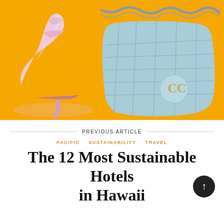[Figure (photo): Orange/yellow background with a pink iridescent high-heel shoe on the left and a light blue quilted Chanel handbag with gold chain on the right]
PREVIOUS ARTICLE
PACIFIC   SUSTAINABILITY   TRAVEL
The 12 Most Sustainable Hotels in Hawaii